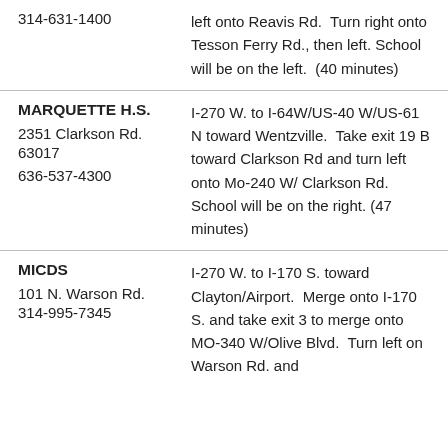| School | Directions |
| --- | --- |
| 314-631-1400 | left onto Reavis Rd.  Turn right onto Tesson Ferry Rd., then left.  School will be on the left.  (40 minutes) |
| MARQUETTE H.S.
2351 Clarkson Rd.
63017
636-537-4300 | I-270 W. to I-64W/US-40 W/US-61 N toward Wentzville.  Take exit 19 B toward Clarkson Rd and turn left onto Mo-240 W/Clarkson Rd.  School will be on the right. (47 minutes) |
| MICDS
101 N. Warson Rd.
314-995-7345 | I-270 W. to I-170 S. toward Clayton/Airport.  Merge onto I-170 S. and take exit 3 to merge onto MO-340 W/Olive Blvd.  Turn left on Warson Rd. and |